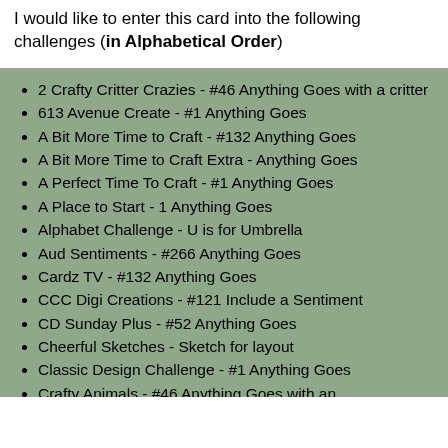I would like to enter this card into the following challenges (in Alphabetical Order)
2 Crafty Critter Crazies - #46 Anything Goes with a critter
613 Avenue Create - #1 Anything Goes
A Bit More Time to Craft - #132 Anything Goes
A Bit More Time to Craft Extra - Anything Goes
A Perfect Time To Craft - #1 Anything Goes
A Place to Start - 1 Anything Goes
Alphabet Challenge - U is for Umbrella
Aud Sentiments - #266 Anything Goes
Cardz TV - #132 Anything Goes
CCC Digi Creations - #121 Include a Sentiment
CD Sunday Plus - #52 Anything Goes
Cheerful Sketches - Sketch for layout
Classic Design Challenge - #1 Anything Goes
Crafty Animals - #46 Anything Goes with an